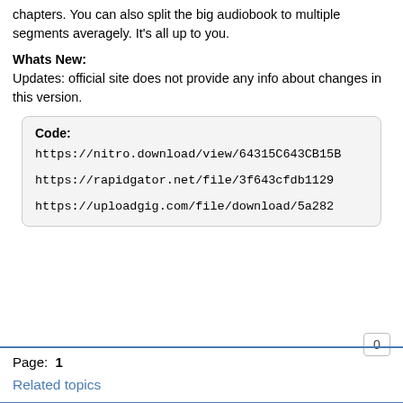chapters. You can also split the big audiobook to multiple segments averagely. It's all up to you.
Whats New:
Updates: official site does not provide any info about changes in this version.
Code:
https://nitro.download/view/64315C643CB15B
https://rapidgator.net/file/3f643cfdb1129
https://uploadgig.com/file/download/5a282
0
Page: 1
Related topics